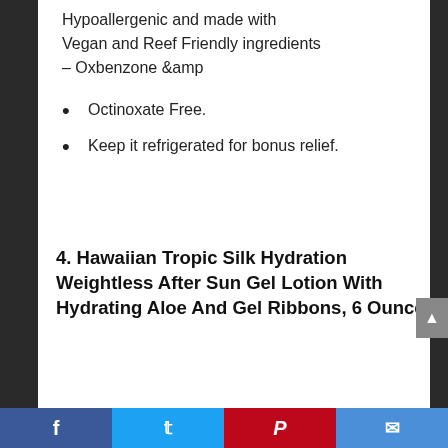Hypoallergenic and made with Vegan and Reef Friendly ingredients – Oxbenzone &amp
Octinoxate Free.
Keep it refrigerated for bonus relief.
4. Hawaiian Tropic Silk Hydration Weightless After Sun Gel Lotion With Hydrating Aloe And Gel Ribbons, 6 Ounce